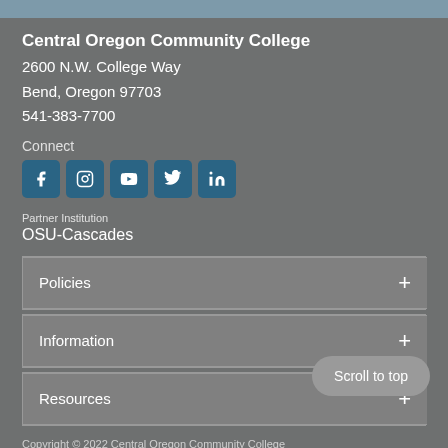Central Oregon Community College
2600 N.W. College Way
Bend, Oregon 97703
541-383-7700
Connect
[Figure (infographic): Social media icons: Facebook, Instagram, YouTube, Twitter, LinkedIn]
Partner Institution
OSU-Cascades
Policies
Information
Resources
Copyright © 2022 Central Oregon Community College
Privacy Policy
Report a correction
Print this page